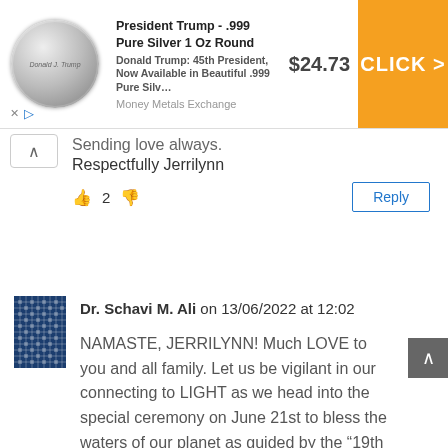[Figure (screenshot): Advertisement banner for President Trump .999 Pure Silver 1 Oz Round coin, showing coin image, product title, description, price $24.73, and orange CLICK button from Money Metals Exchange]
Sending love always.
Respectfully Jerrilynn
👍 2 👎
Reply
Dr. Schavi M. Ali on 13/06/2022 at 12:02
NAMASTE, JERRILYNN! Much LOVE to you and all family. Let us be vigilant in our connecting to LIGHT as we head into the special ceremony on June 21st to bless the waters of our planet as guided by the “19th Keeper of the Buffalo Pipe”.